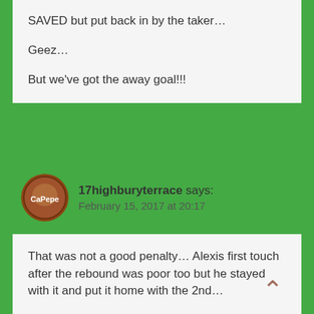SAVED but put back in by the taker…

Geez…

But we've got the away goal!!!
17highburyterrace says: February 15, 2017 at 20:17
That was not a good penalty… Alexis first touch after the rebound was poor too but he stayed with it and put it home with the 2nd…